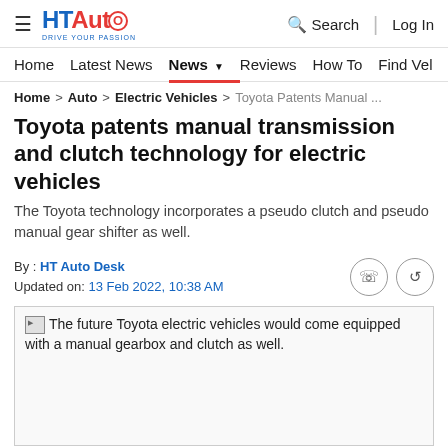HT Auto — Drive Your Passion | Search | Log In
Home | Latest News | News | Reviews | How To | Find Ve...
Home > Auto > Electric Vehicles > Toyota Patents Manual ...
Toyota patents manual transmission and clutch technology for electric vehicles
The Toyota technology incorporates a pseudo clutch and pseudo manual gear shifter as well.
By : HT Auto Desk
Updated on: 13 Feb 2022, 10:38 AM
[Figure (photo): Placeholder image with caption: The future Toyota electric vehicles would come equipped with a manual gearbox and clutch as well.]
The future Toyota electric vehicles would come equipped with a manual gearbox and clutch as well.